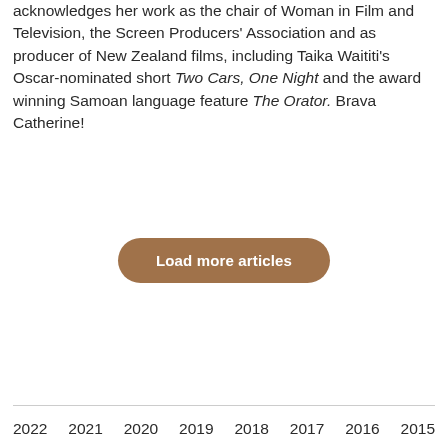acknowledges her work as the chair of Woman in Film and Television, the Screen Producers' Association and as producer of New Zealand films, including Taika Waititi's Oscar-nominated short Two Cars, One Night and the award winning Samoan language feature The Orator. Brava Catherine!
Load more articles
2022  2021  2020  2019  2018  2017  2016  2015